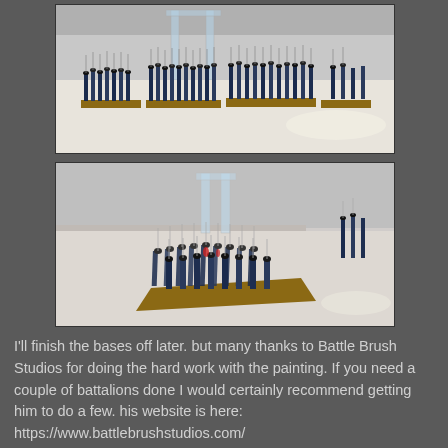[Figure (photo): Top-down view of painted miniature soldiers arranged in rows on wooden bases, photographed from the side on a white table. The miniatures appear to be Napoleonic-era French infantry figures painted in blue and dark uniforms with white highlights and small bayonets/rifles. A glass or acrylic display stand is visible in the background.]
[Figure (photo): Closer angle view of the same painted miniature soldiers arranged in a square formation on a wooden base, photographed from a slightly elevated angle showing depth. The miniatures are Napoleonic-era infantry in blue uniforms. The same glass stand is visible in the background along with additional figures to the right.]
I'll finish  the bases off later.  but many thanks to Battle Brush Studios for doing the hard work with the painting.  If you need a couple of battalions done I would certainly recommend getting him to do a few.  his website is here: https://www.battlebrushstudios.com/